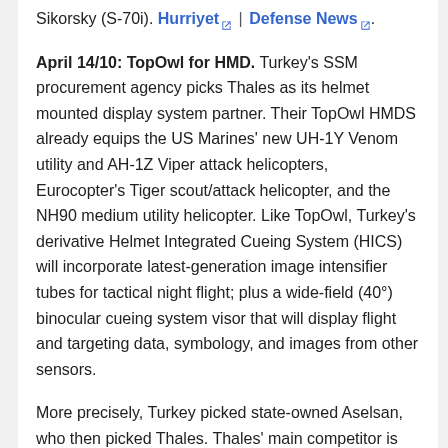Sikorsky (S-70i). Hurriyet | Defense News.
April 14/10: TopOwl for HMD. Turkey's SSM procurement agency picks Thales as its helmet mounted display system partner. Their TopOwl HMDS already equips the US Marines' new UH-1Y Venom utility and AH-1Z Viper attack helicopters, Eurocopter's Tiger scout/attack helicopter, and the NH90 medium utility helicopter. Like TopOwl, Turkey's derivative Helmet Integrated Cueing System (HICS) will incorporate latest-generation image intensifier tubes for tactical night flight; plus a wide-field (40°) binocular cueing system visor that will display flight and targeting data, symbology, and images from other sensors.
More precisely, Turkey picked state-owned Aselsan, who then picked Thales. Thales' main competitor is Israel's Elbit Systems, whose offerings range from the comparable JEDEYE to the less sophisticated ANVIS/HUD and IHADDS for AH-64 Apaches. Thales Group's release quotes Aselsan Director of Airborne